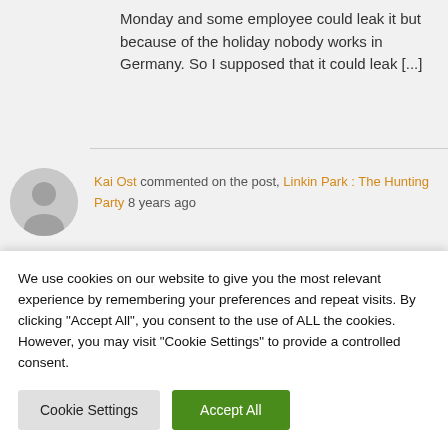Monday and some employee could leak it but because of the holiday nobody works in Germany. So I supposed that it could leak [...]
Kai Ost commented on the post, Linkin Park : The Hunting Party 8 years ago
I think It's gonna leak late because of holiday...
We use cookies on our website to give you the most relevant experience by remembering your preferences and repeat visits. By clicking "Accept All", you consent to the use of ALL the cookies. However, you may visit "Cookie Settings" to provide a controlled consent.